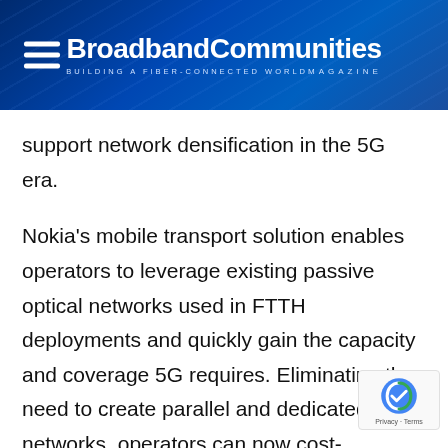[Figure (logo): BroadbandCommunities Magazine header bar with hamburger menu icon on blue gradient background with fiber-network line patterns]
support network densification in the 5G era.
Nokia's mobile transport solution enables operators to leverage existing passive optical networks used in FTTH deployments and quickly gain the capacity and coverage 5G requires. Eliminating the need to create parallel and dedicated networks, operators can now cost-effectively connect radio cells to a fix network at scale and gradually introduce m